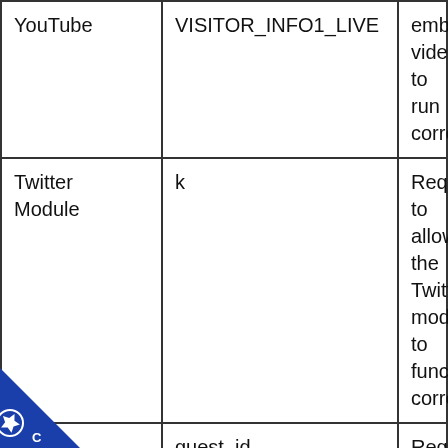| YouTube | VISITOR_INFO1_LIVE | embedded videos to run correctly. |
| Twitter Module | k | Required to allow the Twitter module to function correctly. |
| Twitter Module | guest_id | Required to allow the Twitter |